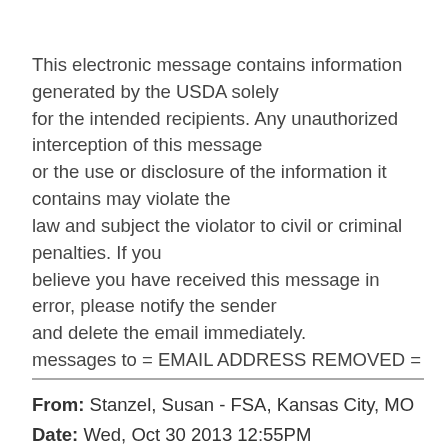This electronic message contains information generated by the USDA solely for the intended recipients. Any unauthorized interception of this message or the use or disclosure of the information it contains may violate the law and subject the violator to civil or criminal penalties. If you believe you have received this message in error, please notify the sender and delete the email immediately. messages to = EMAIL ADDRESS REMOVED =
From: Stanzel, Susan - FSA, Kansas City, MO
Date: Wed, Oct 30 2013 12:55PM